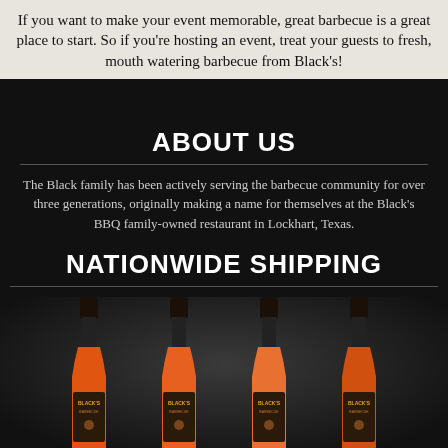If you want to make your event memorable, great barbecue is a great place to start. So if you’re hosting an event, treat your guests to fresh, mouth watering barbecue from Black’s!
ABOUT US
The Black family has been actively serving the barbecue community for over three generations, originally making a name for themselves at the Black’s BBQ family-owned restaurant in Lockhart, Texas.
NATIONWIDE SHIPPING
[Figure (photo): Four bottles of Black's Barbecue sauce with orange/red labels showing the Black's Barbecue logo, arranged side by side on a dark background]